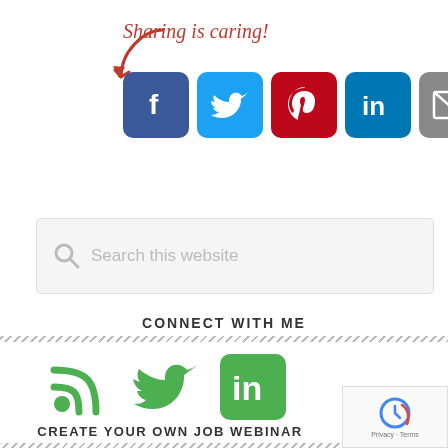[Figure (infographic): Sharing is caring! label with red arrow pointing to row of social sharing icons: Facebook (blue), Twitter (blue), Pinterest (red), LinkedIn (blue), Email (grey), and a green share/refresh icon]
[Figure (screenshot): Search bar with magnifier icon and placeholder text 'Search this website']
CONNECT WITH ME
[Figure (infographic): Three green social icons: RSS feed, Twitter bird, LinkedIn square]
CREATE YOUR OWN JOB WEBINAR
[Figure (logo): reCAPTCHA badge with Privacy and Terms links]